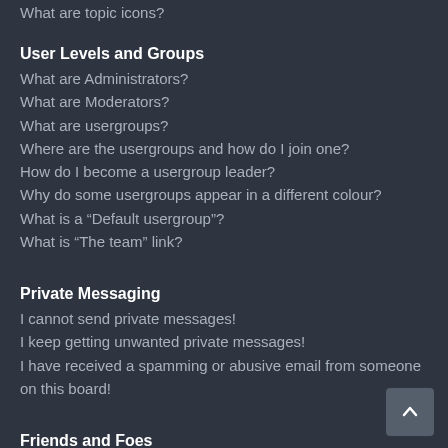What are topic icons?
User Levels and Groups
What are Administrators?
What are Moderators?
What are usergroups?
Where are the usergroups and how do I join one?
How do I become a usergroup leader?
Why do some usergroups appear in a different colour?
What is a “Default usergroup”?
What is “The team” link?
Private Messaging
I cannot send private messages!
I keep getting unwanted private messages!
I have received a spamming or abusive email from someone on this board!
Friends and Foes
What are my Friends and Foes lists?
How can I add / remove users to my Friends or Foes list?